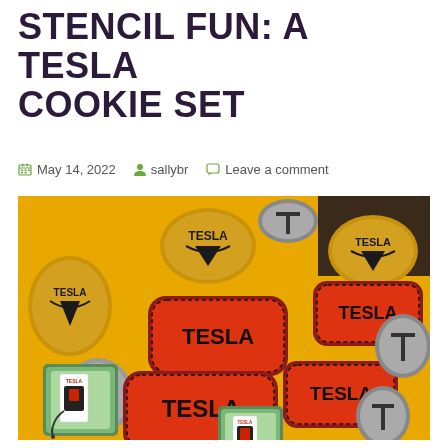STENCIL FUN: A TESLA COOKIE SET
May 14, 2022  sallybr  Leave a comment
[Figure (photo): A collection of Tesla-themed decorated cookies including red rounded-rectangle cookies with TESLA logo text, grey cookies shaped like the Tesla T logo, gold/yellow oval cookies with TESLA badge design, and small rectangular cookies depicting a Tesla Supercharger station, all arranged on a yellow surface.]